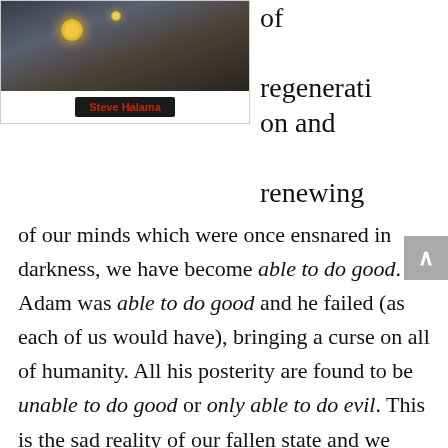[Figure (photo): Photograph of ants near glowing orbs on dark ground, with photographer credit 'Steve Halama' in red text on black background]
of regeneration and renewing of our minds which were once ensnared in darkness, we have become able to do good. Adam was able to do good and he failed (as each of us would have), bringing a curse on all of humanity. All his posterity are found to be unable to do good or only able to do evil. This is the sad reality of our fallen state and we would do good to meditate upon it frequently as a reminder of God's goodness to us. Because when the